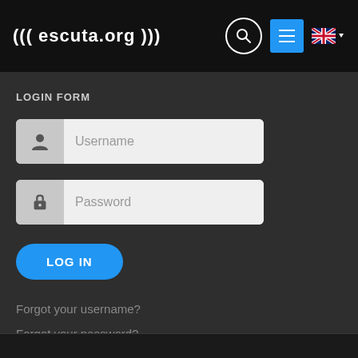((( escuta.org )))
LOGIN FORM
[Figure (screenshot): Username input field with user icon on the left and placeholder text 'Username']
[Figure (screenshot): Password input field with lock icon on the left and placeholder text 'Password']
LOG IN
Forgot your username?
Forgot your password?